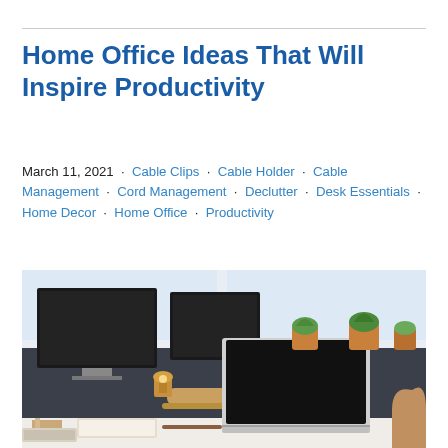Home Office Ideas That Will Inspire Productivity
March 11, 2021 · Cable Clips · Cable Holder · Cable Management · Cord Management · Declutter · Desk Essentials · Home Decor · Home Office · Productivity
[Figure (photo): A stylish home office desk setup with a laptop on a wooden stand, two monitors, potted plants on a windowsill, a small bulb lamp, notebooks, and desk accessories.]